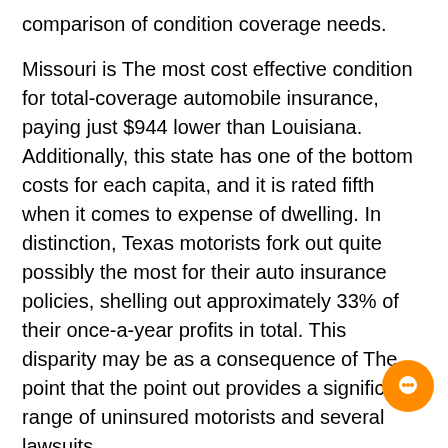comparison of condition coverage needs.
Missouri is The most cost effective condition for total-coverage automobile insurance, paying just $944 lower than Louisiana. Additionally, this state has one of the bottom costs for each capita, and it is rated fifth when it comes to expense of dwelling. In distinction, Texas motorists fork out quite possibly the most for their auto insurance policies, shelling out approximately 33% of their once-a-year profits in total. This disparity may be as a consequence of The point that the point out provides a significant range of uninsured motorists and several lawsuits.
The national average for full coverage car insurance policies is $1,771 a 12 months. The state with the most costly insurance plan premium is Louisiana, that has a premium of $2,839, a 19% increase from 2020. Conversely, Maine's average insurance coverage premium is simply $858. It's because no-fault states have greater insurance rates. Th